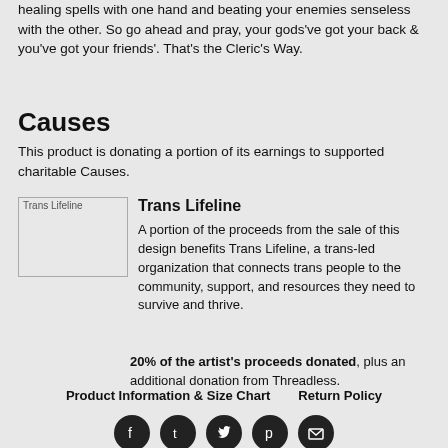healing spells with one hand and beating your enemies senseless with the other. So go ahead and pray, your gods've got your back & you've got your friends'. That's the Cleric's Way.
Causes
This product is donating a portion of its earnings to supported charitable Causes.
[Figure (photo): Trans Lifeline logo image placeholder]
Trans Lifeline
A portion of the proceeds from the sale of this design benefits Trans Lifeline, a trans-led organization that connects trans people to the community, support, and resources they need to survive and thrive.
20% of the artist's proceeds donated, plus an additional donation from Threadless.
Product Information & Size Chart    Return Policy
[Figure (infographic): Social media icons: Facebook, Tumblr, Twitter, Pinterest, Email]